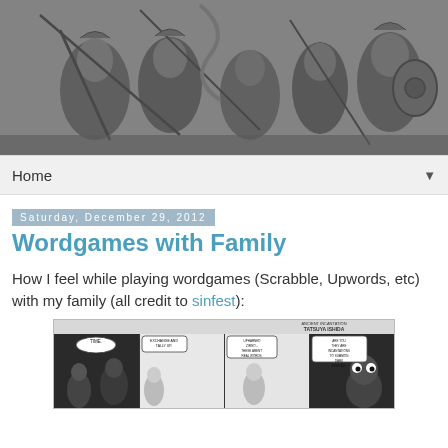[Figure (illustration): Black and white engraving-style illustration of ancient warriors/soldiers in battle, holding spears and shields, in a panoramic header banner.]
Home ▼
Saturday, December 29, 2012
Wordgames with Family
How I feel while playing wordgames (Scrabble, Upwords, etc) with my family (all credit to sinfest):
[Figure (illustration): Comic strip panels from 'sinfest' by Tatsuya Ishida showing characters playing word games. Panels include speech bubbles with text about exchanging tiles, word challenges, and dark forces incantations.]